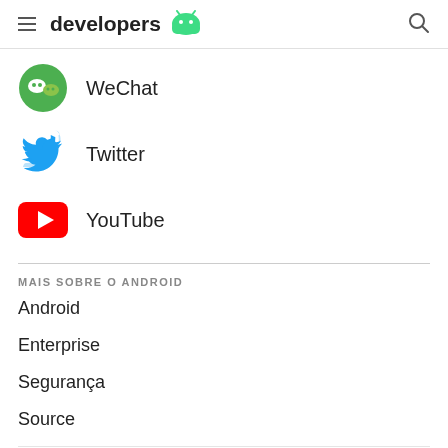developers [android logo]
WeChat
Twitter
YouTube
MAIS SOBRE O ANDROID
Android
Enterprise
Segurança
Source
SUPORTE
Reportar bug na plataforma